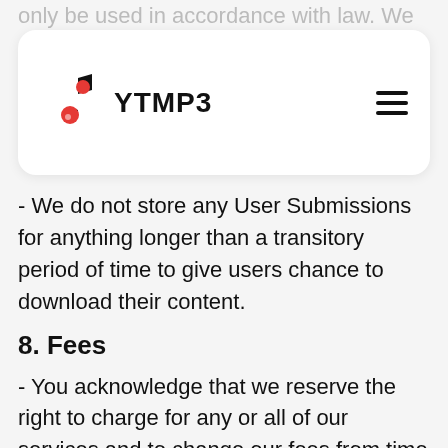YTMP3 [logo/nav overlay]
- We do not store any User Submissions for anything longer than a transitory period of time to give users chance to download their content.
8. Fees
- You acknowledge that we reserve the right to charge for any or all of our services and to change our fees from time to time in our sole discretion. If at any time we terminate your rights to use the Website because of a breach of these Terms, you shall not be entitled to a refund of any portion of your fees. In all other respects, such fees shall be governed by additional rules, terms, conditions or agreements posted on the Website and/or imposed by any sales agent or payment